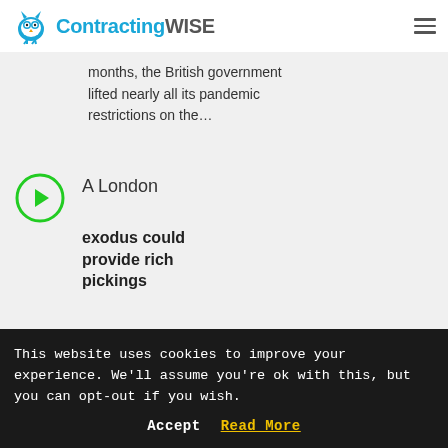ContractingWISE
months, the British government lifted nearly all its pandemic restrictions on the...
A London exodus could provide rich pickings
According to a recent report by Guidant Global,
This website uses cookies to improve your experience. We'll assume you're ok with this, but you can opt-out if you wish.
Accept  Read More